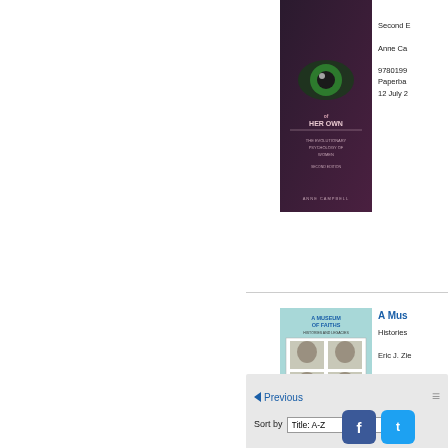[Figure (photo): Book cover for 'Of Her Own' by Anne Campbell, second edition, dark toned cover with eye imagery]
Second E
Anne Ca
9780199...
Paperba
12 July 2...
[Figure (photo): Book cover for 'A Museum of Faiths' edited by Eric J. Ziolkowski, teal cover with historical photographs]
A Mus
Histories ...
Eric J. Zie
97815554...
Paperba
02 Janua
AAR Clas...
Previous
Sort by  Title: A-Z
[Figure (other): Facebook and Twitter social media icons]